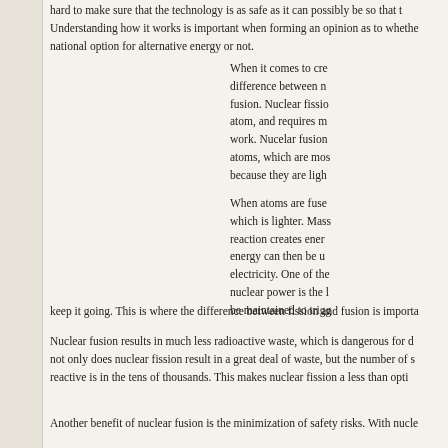hard to make sure that the technology is as safe as it can possibly be so that t... Understanding how it works is important when forming an opinion as to whethe... national option for alternative energy or not.
When it comes to cre... difference between n... fusion. Nuclear fissio... atom, and requires m... work. Nucelar fusion ... atoms, which are mos... because they are ligh...
When atoms are fuse... which is lighter. Mass... reaction creates ener... energy can then be u... electricity. One of the... nuclear power is the l... be maintained to trigg... keep it going. This is where the difference between fission and fusion is importa...
Nuclear fusion results in much less radioactive waste, which is dangerous for d... not only does nuclear fission result in a great deal of waste, but the number of s... reactive is in the tens of thousands. This makes nuclear fission a less than opti...
Another benefit of nuclear fusion is the minimization of safety risks. With nucle...